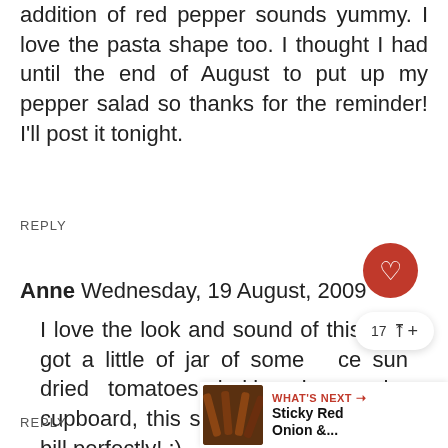addition of red pepper sounds yummy. I love the pasta shape too. I thought I had until the end of August to put up my pepper salad so thanks for the reminder! I'll post it tonight.
REPLY
Anne Wednesday, 19 August, 2009
I love the look and sound of this! I've got a little of jar of some nice sun dried tomatoes lurking in the cupboard, this seems to fit the lunch bill perfectly! :)
REPLY
WHAT'S NEXT → Sticky Red Onion &...